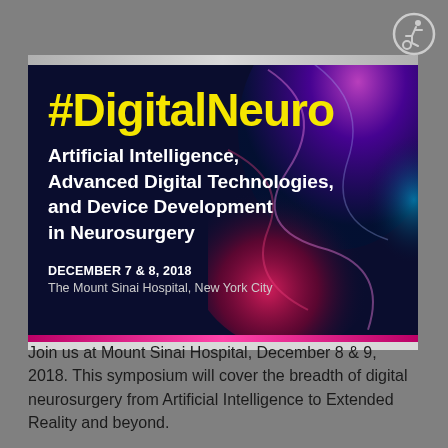[Figure (infographic): Event promotional card for #DigitalNeuro symposium with dark navy background and colorful abstract brain imagery. Shows hashtag title in yellow, subtitle in white, and event details.]
Join us at Mount Sinai Hospital, December 8 & 9, 2018. This symposium will cover the breadth of digital neurosurgery from Artificial Intelligence to Extended Reality and beyond.